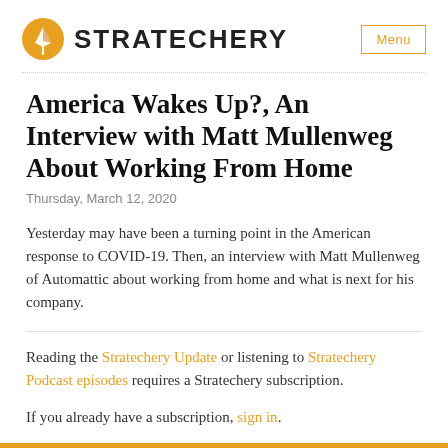STRATECHERY
America Wakes Up?, An Interview with Matt Mullenweg About Working From Home
Thursday, March 12, 2020
Yesterday may have been a turning point in the American response to COVID-19. Then, an interview with Matt Mullenweg of Automattic about working from home and what is next for his company.
Reading the Stratechery Update or listening to Stratechery Podcast episodes requires a Stratechery subscription.
If you already have a subscription, sign in.